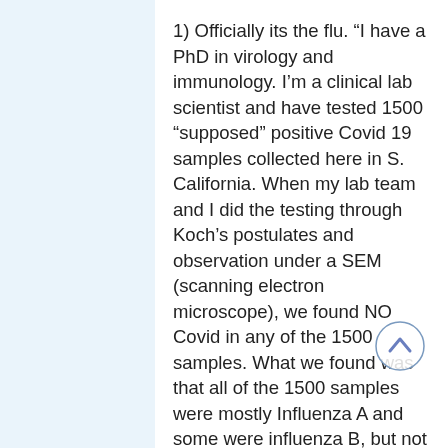1) Officially its the flu. "I have a PhD in virology and immunology. I'm a clinical lab scientist and have tested 1500 "supposed" positive Covid 19 samples collected here in S. California. When my lab team and I did the testing through Koch's postulates and observation under a SEM (scanning electron microscope), we found NO Covid in any of the 1500 samples. What we found was that all of the 1500 samples were mostly Influenza A and some were influenza B, but not a single case of Covid, and we did not use the B.S. PCR test. We then sent the remainder of the samples to Stanford, Cornell, and a few of the University of California labs and they found the same results as we did, NO COVID. They found influenza A and B. All of us then spoke to the CDC and asked for viable samples of COVID, which CDC said they could not provide as they did not have any.